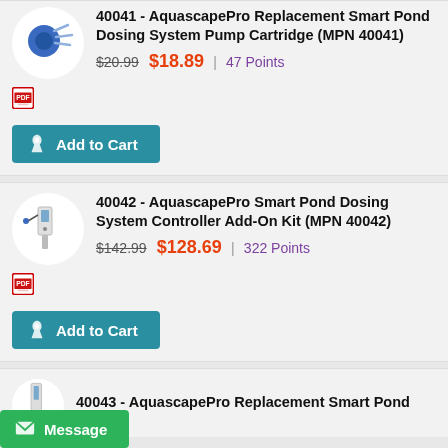40041 - AquascapePro Replacement Smart Pond Dosing System Pump Cartridge (MPN 40041)
$20.99 $18.89 | 47 Points
[Figure (other): PDF document icon]
Add to Cart
40042 - AquascapePro Smart Pond Dosing System Controller Add-On Kit (MPN 40042)
$142.99 $128.69 | 322 Points
[Figure (other): PDF document icon]
Add to Cart
40043 - AquascapePro Replacement Smart Pond
Message